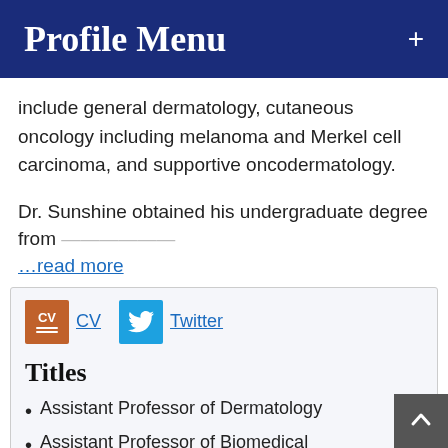Profile Menu +
include general dermatology, cutaneous oncology including melanoma and Merkel cell carcinoma, and supportive oncodermatology.
Dr. Sunshine obtained his undergraduate degree from...
...read more
[Figure (other): CV icon and Twitter icon with links]
Titles
Assistant Professor of Dermatology
Assistant Professor of Biomedical